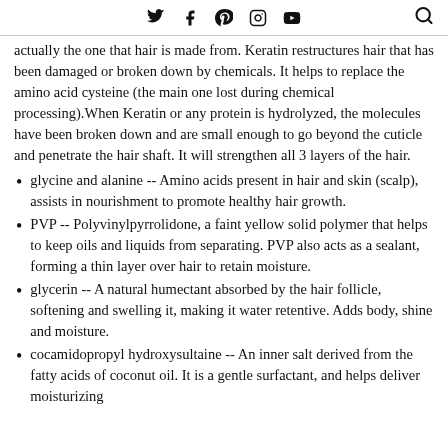Twitter Facebook Pinterest Instagram YouTube Search
actually the one that hair is made from. Keratin restructures hair that has been damaged or broken down by chemicals. It helps to replace the amino acid cysteine (the main one lost during chemical processing).When Keratin or any protein is hydrolyzed, the molecules have been broken down and are small enough to go beyond the cuticle and penetrate the hair shaft. It will strengthen all 3 layers of the hair.
glycine and alanine -- Amino acids present in hair and skin (scalp), assists in nourishment to promote healthy hair growth.
PVP -- Polyvinylpyrrolidone, a faint yellow solid polymer that helps to keep oils and liquids from separating. PVP also acts as a sealant, forming a thin layer over hair to retain moisture.
glycerin -- A natural humectant absorbed by the hair follicle, softening and swelling it, making it water retentive. Adds body, shine and moisture.
cocamidopropyl hydroxysultaine -- An inner salt derived from the fatty acids of coconut oil. It is a gentle surfactant, and helps deliver moisturizing